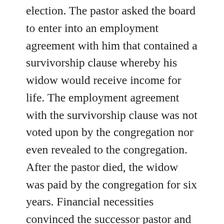election. The pastor asked the board to enter into an employment agreement with him that contained a survivorship clause whereby his widow would receive income for life. The employment agreement with the survivorship clause was not voted upon by the congregation nor even revealed to the congregation. After the pastor died, the widow was paid by the congregation for six years. Financial necessities convinced the successor pastor and church leadership to phase out the payments. They believed the widow's payments fulfilled their obligation as set forth in church tradition for such situations and did not learn of the written contract until the litigation for breach of the contract was brought by the widow. The trial court entered judgment for the widow on a breach of contract theory, apply neutral principles of law, but the Court of Appeals reversed. The failure of the board to be properly elected was fatal to the